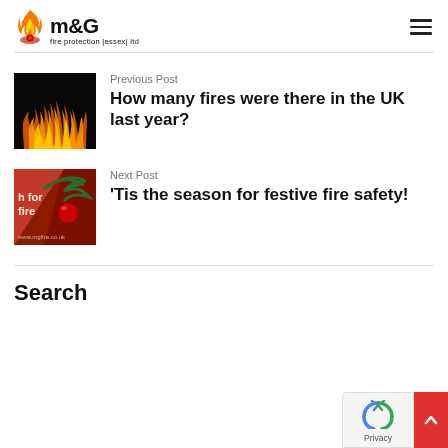[Figure (logo): M&G Fire Protection Essex Ltd logo with flame icon]
Previous Post
[Figure (photo): Fire flames on dark background thumbnail]
How many fires were there in the UK last year?
Next Post
[Figure (photo): Christmas festive fire safety thumbnail with red baubles and greenery]
'Tis the season for festive fire safety!
Search